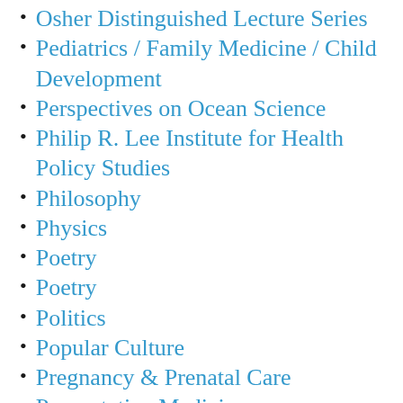Osher Distinguished Lecture Series
Pediatrics / Family Medicine / Child Development
Perspectives on Ocean Science
Philip R. Lee Institute for Health Policy Studies
Philosophy
Physics
Poetry
Poetry
Politics
Popular Culture
Pregnancy & Prenatal Care
Preventative Medicine
Public Affairs
Public Art and Installations